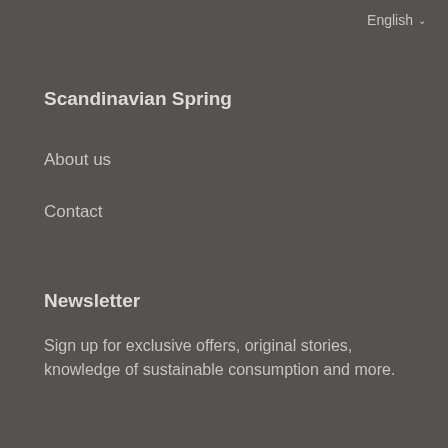English
Scandinavian Spring
About us
Contact
Newsletter
Sign up for exclusive offers, original stories, knowledge of sustainable consumption and more.
Email
[Figure (other): Social media icons: Facebook and Instagram]